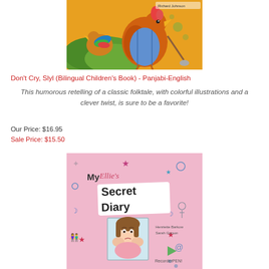[Figure (illustration): Book cover for Don't Cry, Slyl (Bilingual Children's Book) showing colorful illustrated birds and animals in an orange/warm-toned scene]
Don't Cry, Slyl (Bilingual Children's Book) - Panjabi-English
This humorous retelling of a classic folktale, with colorful illustrations and a clever twist, is sure to be a favorite!
Our Price: $16.95
Sale Price: $15.50
[Figure (illustration): Book cover for My Ellie's Secret Diary showing a pink background with doodles, stars, and a cartoon girl with brown hair. Text reads MyEllie's Secret Diary by Henriette Barkow, Sarah Garson. RecorderPEN logo visible.]